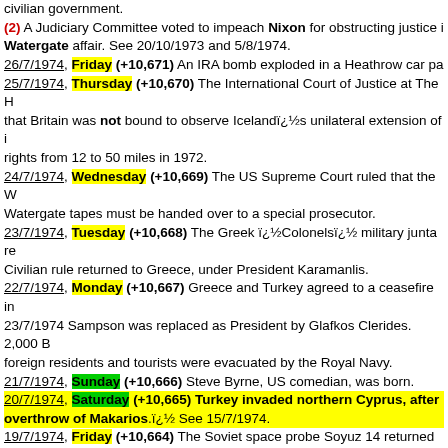civilian government.
(2) A Judiciary Committee voted to impeach Nixon for obstructing justice in the Watergate affair. See 20/10/1973 and 5/8/1974.
26/7/1974, Friday (+10,671) An IRA bomb exploded in a Heathrow car pa...
25/7/1974, Thursday (+10,670) The International Court of Justice at The H... that Britain was not bound to observe Iceland's unilateral extension of its rights from 12 to 50 miles in 1972.
24/7/1974, Wednesday (+10,669) The US Supreme Court ruled that the W... Watergate tapes must be handed over to a special prosecutor.
23/7/1974, Tuesday (+10,668) The Greek 'Colonels' military junta re... Civilian rule returned to Greece, under President Karamanlis.
22/7/1974, Monday (+10,667) Greece and Turkey agreed to a ceasefire in ... 23/7/1974 Sampson was replaced as President by Glafkos Clerides. 2,000 B... foreign residents and tourists were evacuated by the Royal Navy.
21/7/1974, Sunday (+10,666) Steve Byrne, US comedian, was born.
20/7/1974, Saturday (+10,665) Turkey invaded northern Cyprus, after ... overthrow of Makarios. See 15/7/1974.
19/7/1974, Friday (+10,664) The Soviet space probe Soyuz 14 returned sa...
18/7/1974, Thursday (+10,663) The Maplin project, which would have cre... and airport combined the size of Rotterdam off the Essex coast, was scrapp...
17/7/1974, Wednesday (+10,662) An IRA bomb exploded at the Tower of... killing one person and injuring 41.
16/7/1974, Tuesday (+10,661) Robinne Lee, US actress, was born.
15/7/1974, Monday (+10,660) In Cyprus. Archbishop Makarios was dep... President in a coup by officers of the Greek National Guard. Nicos San... installed as President. Makarios, nearly assassinated, went into exile fo...